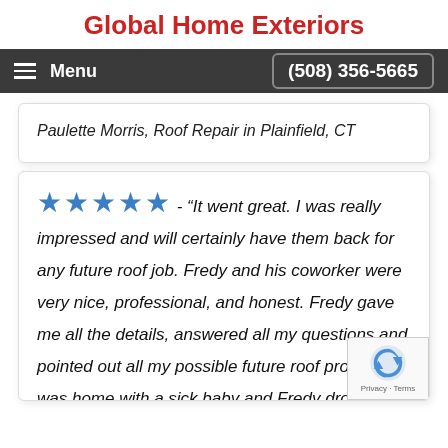Global Home Exteriors
Menu   (508) 356-5665
Paulette Morris, Roof Repair in Plainfield, CT
★★★★★ - "It went great. I was really impressed and will certainly have them back for any future roof job. Fredy and his coworker were very nice, professional, and honest. Fredy gave me all the details, answered all my questions and pointed out all my possible future roof problems. I was home with a sick baby and Fredy drove to Home depot and bought the roof vent cap himself. I was so grateful to him would have been horrible to drag a sick baby with to the store. The work took half an hour more as he